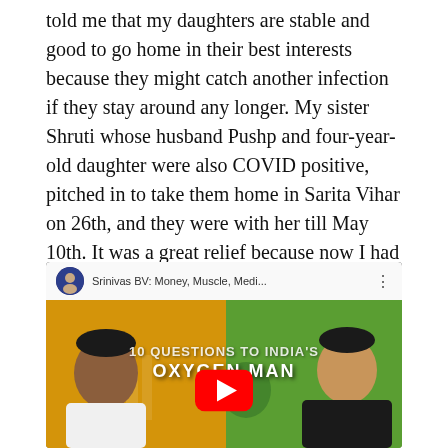told me that my daughters are stable and good to go home in their best interests because they might catch another infection if they stay around any longer. My sister Shruti whose husband Pushp and four-year-old daughter were also COVID positive, pitched in to take them home in Sarita Vihar on 26th, and they were with her till May 10th. It was a great relief because now I had only one child to take care of, Ajay.
[Figure (screenshot): YouTube video thumbnail showing two men with the title '10 QUESTIONS TO INDIA'S OXYGEN MAN' and channel name 'Srinivas BV: Money, Muscle, Medi...' with a red play button in the center.]